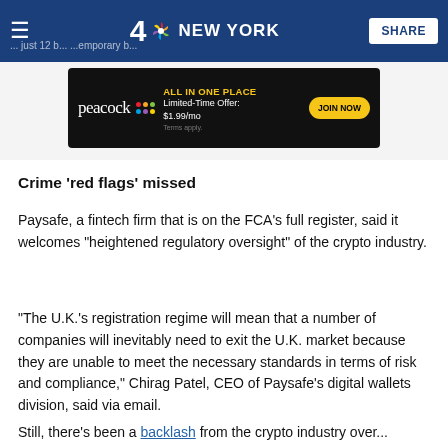4 NBC NEW YORK | SHARE
[Figure (screenshot): Peacock streaming service advertisement banner: ALL IN ONE PLACE, Limited-Time Offer: $1.99/mo, JOIN NOW, Terms apply.]
Crime 'red flags' missed
Paysafe, a fintech firm that is on the FCA's full register, said it welcomes "heightened regulatory oversight" of the crypto industry.
"The U.K.'s registration regime will mean that a number of companies will inevitably need to exit the U.K. market because they are unable to meet the necessary standards in terms of risk and compliance," Chirag Patel, CEO of Paysafe's digital wallets division, said via email.
Still, there's been a backlash from the crypto industry over...